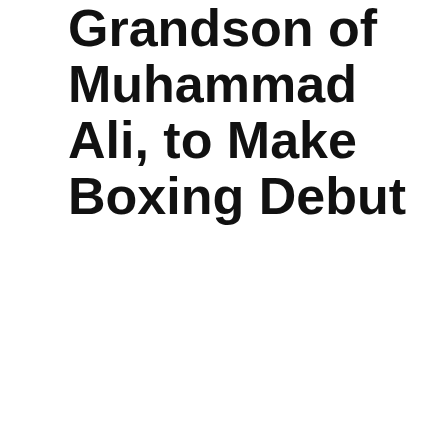Grandson of Muhammad Ali, to Make Boxing Debut
August 13, 2021 by PbNews24
Nico Ali Walsh didn’t default to boxing, even though his grandfather, Muhammad Ali, was a three-time heavyweight champion and one of the best fighters in history.
And Ali Walsh, 21, says none of his relatives pushed him to box professionally, even though members of his family...